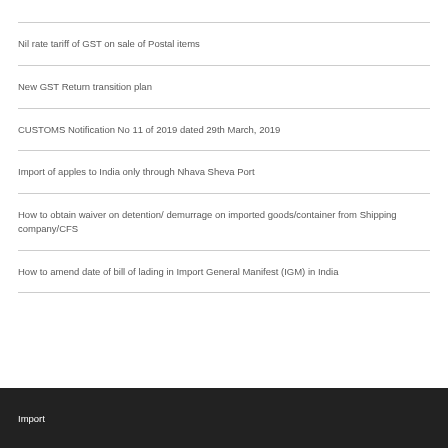Nil rate tariff of GST on sale of Postal items
New GST Return transition plan
CUSTOMS Notification No 11 of 2019 dated 29th March, 2019
Import of apples to India only through Nhava Sheva Port
How to obtain waiver on detention/ demurrage on imported goods/container from Shipping company/CFS
How to amend date of bill of lading in Import General Manifest (IGM) in India
Import